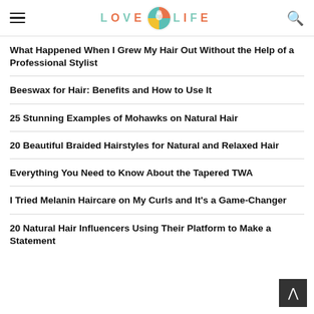LOVE LIFE
What Happened When I Grew My Hair Out Without the Help of a Professional Stylist
Beeswax for Hair: Benefits and How to Use It
25 Stunning Examples of Mohawks on Natural Hair
20 Beautiful Braided Hairstyles for Natural and Relaxed Hair
Everything You Need to Know About the Tapered TWA
I Tried Melanin Haircare on My Curls and It's a Game-Changer
20 Natural Hair Influencers Using Their Platform to Make a Statement